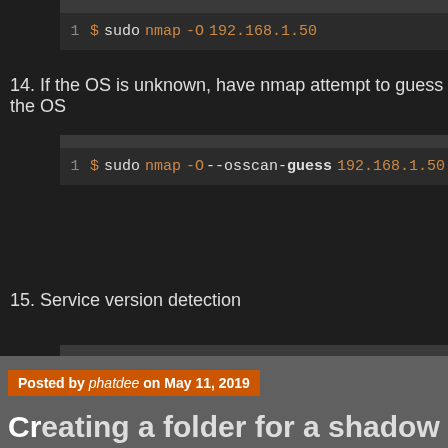[Figure (screenshot): Terminal code block showing: 1  $ sudo nmap -O 192.168.1.50]
14. If the OS is unknown, have nmap attempt to guess the OS
[Figure (screenshot): Terminal code block showing: 1  $ sudo nmap -O --osscan-guess 192.168.1.50]
15. Service version detection
[Figure (screenshot): Terminal code block showing: 1  $ sudo nmap -sV 192.168.1.50]
Posted by phatdee on May 11, 2019